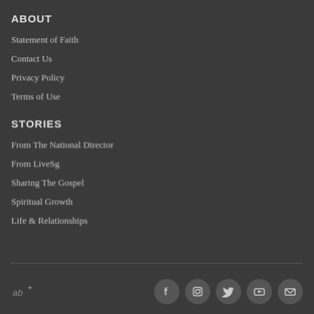ABOUT
Statement of Faith
Contact Us
Privacy Policy
Terms of Use
STORIES
From The National Director
From LiveSg
Sharing The Gospel
Spiritual Growth
Life & Relationships
[Figure (logo): Small website logo with cross symbol in bottom left]
[Figure (infographic): Row of 5 social media icon circles: Facebook, Instagram, Twitter, YouTube, Email]